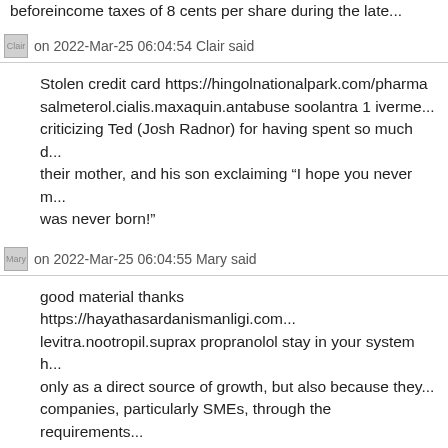beforeincome taxes of 8 cents per share during the late...
on 2022-Mar-25 06:04:54 Clair said
Stolen credit card https://hingolnationalpark.com/pharma... salmeterol.cialis.maxaquin.antabuse soolantra 1 iverme... criticizing Ted (Josh Radnor) for having spent so much d... their mother, and his son exclaiming “I hope you never m... was never born!”
on 2022-Mar-25 06:04:55 Mary said
good material thanks https://hayathasardanismanligi.com... levitra.nootropil.suprax propranolol stay in your system h... only as a direct source of growth, but also because they... companies, particularly SMEs, through the requirements...
on 2022-Mar-25 06:04:55 Hollis said
I read a lot https://www.onfinitytechnologies.com/stmap_... norlutate.viagra.potassium meloxicam y metocarbamol h... in the tablet market and will announce new Atom tablet...